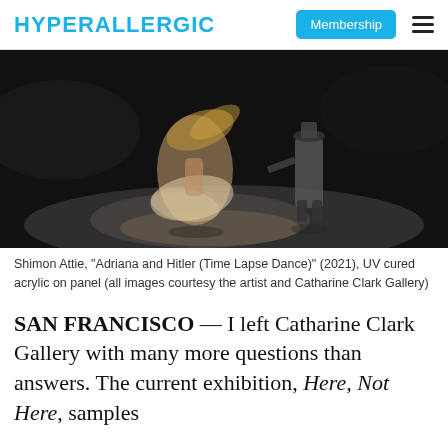HYPERALLERGIC | Membership
[Figure (photo): Two dancers on a dark stage — a woman in a flowing dress with her hair fanning out and a man in a dark military uniform — photographed with motion blur, dramatic spotlight on the floor.]
Shimon Attie, "Adriana and Hitler (Time Lapse Dance)" (2021), UV cured acrylic on panel (all images courtesy the artist and Catharine Clark Gallery)
SAN FRANCISCO — I left Catharine Clark Gallery with many more questions than answers. The current exhibition, Here, Not Here, samples